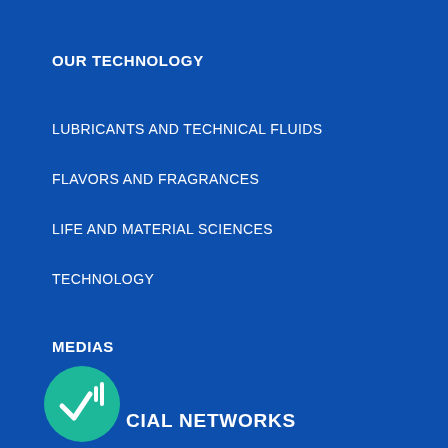OUR TECHNOLOGY
LUBRICANTS AND TECHNICAL FLUIDS
FLAVORS AND FRAGRANCES
LIFE AND MATERIAL SCIENCES
TECHNOLOGY
MEDIAS
NEWS
PRESS
RESOURCES
[Figure (logo): Teal circular logo with a white checkmark/signal icon]
CIAL NETWORKS